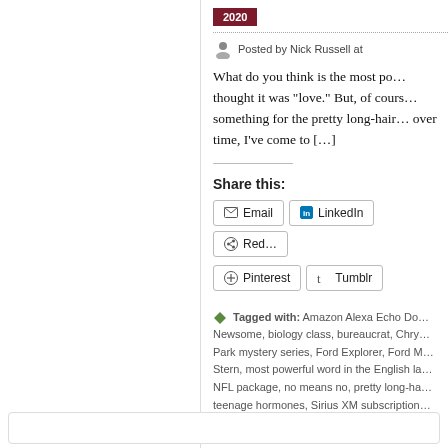2020
Posted by Nick Russell at
What do you think is the most po… thought it was "love." But, of cours… something for the pretty long-hair… over time, I've come to […]
Share this:
Email
LinkedIn
Red…
Pinterest
Tumblr
Tagged with: Amazon Alexa Echo Do… Newsome, biology class, bureaucrat, Chry… Park mystery series, Ford Explorer, Ford M… Stern, most powerful word in the English la… NFL package, no means no, pretty long-ha… teenage hormones, Sirius XM subscription… radio